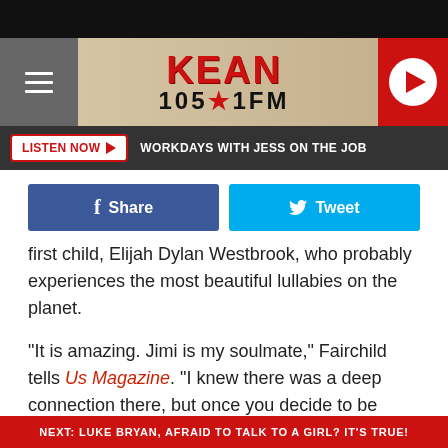[Figure (logo): KEAN 105.1 FM radio station logo with hamburger menu and play button]
LISTEN NOW ▶   WORKDAYS WITH JESS ON THE JOB
[Figure (infographic): Facebook Share button and Twitter Tweet button]
first child, Elijah Dylan Westbrook, who probably experiences the most beautiful lullabies on the planet.

"It is amazing. Jimi is my soulmate," Fairchild tells Us Magazine. "I knew there was a deep connection there, but once you decide to be together, you find even more, and then to have a child together is a beautiful, beautiful thing for us to share and a dream come true."
NEXT: LUKE BRYAN, AFRAID TO TALK TO A GIRL? IT'S TRUE!